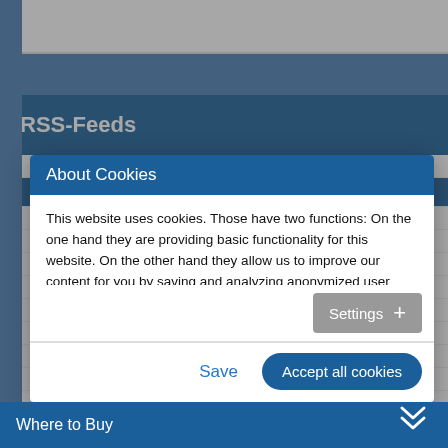RSS-Feeds
About Cookies
This website uses cookies. Those have two functions: On the one hand they are providing basic functionality for this website. On the other hand they allow us to improve our content for you by saving and analyzing anonymized user data. You can redraw your consent to using these cookies at any time. Find more information regarding cookies on our Data Protection Declaration and regarding us on the Imprint.
Settings +
Save
Accept all cookies
Where to Buy